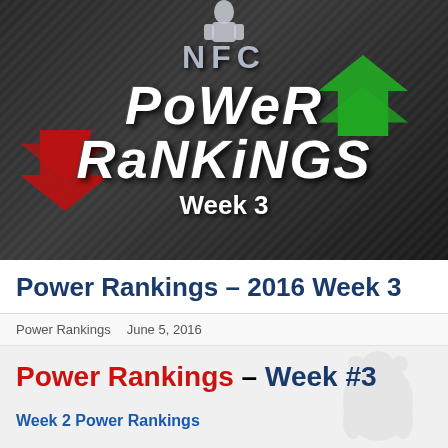[Figure (illustration): NFC Power Rankings Week 3 banner image with dark metallic brushed background, white bold italic text reading 'NFC POWER RANKINGS Week 3', green upward chevron arrows on the right, and red downward chevron arrows on the left, with a silhouette of a football player at the top center.]
Power Rankings – 2016 Week 3
Power Rankings    June 5, 2016
Power Rankings – Week #3
Week 2 Power Rankings